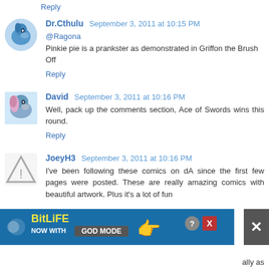Reply
Dr.Cthulu  September 3, 2011 at 10:15 PM
@Ragona
Pinkie pie is a prankster as demonstrated in Griffon the Brush Off
Reply
David  September 3, 2011 at 10:16 PM
Well, pack up the comments section, Ace of Swords wins this round.
Reply
JoeyH3  September 3, 2011 at 10:16 PM
I've been following these comics on dA since the first few pages were posted. These are really amazing comics with beautiful artwork. Plus it's a lot of fun
[Figure (infographic): BitLife advertisement banner: NOW WITH GOD MODE, with cartoon hand pointing right, help/close buttons]
ally as